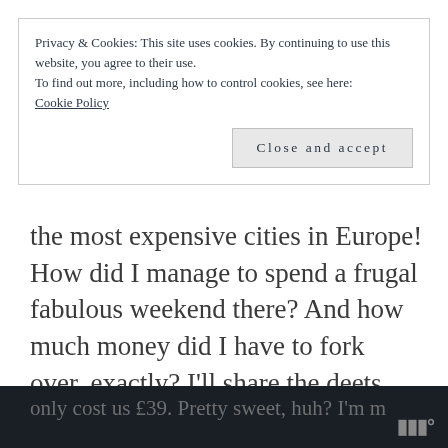Privacy & Cookies: This site uses cookies. By continuing to use this website, you agree to their use.
To find out more, including how to control cookies, see here: Cookie Policy
[Close and accept button]
the most expensive cities in Europe! How did I manage to spend a frugal fabulous weekend there? And how much money did I have to fork over, exactly? I'll share the deets.
Tickets: £78
Our flight from Eindhoven (NL) to Dublin only cost us £39. Pretty sweet, huh? I'm m…